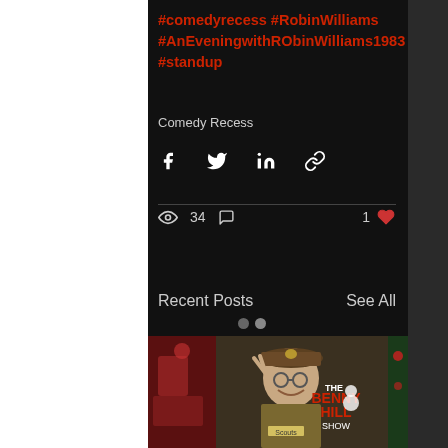#comedyrecess #RobinWilliams #AnEveningwithRObinWilliams1983 #standup
Comedy Recess
[Figure (infographic): Social share icons: Facebook, Twitter, LinkedIn, link/chain]
34 views, 1 like, comment icon
Recent Posts
See All
[Figure (photo): Photo of person in scout/Benny Hill costume making peace sign, The Benny Hill Show logo visible]